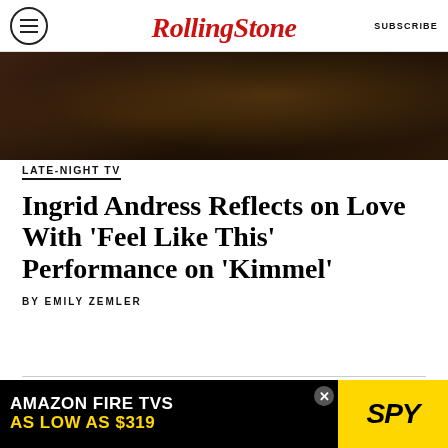Rolling Stone | SUBSCRIBE
[Figure (photo): Dark moody background image with brown and dark tones, appears to be foliage or landscape]
LATE-NIGHT TV
Ingrid Andress Reflects on Love With 'Feel Like This' Performance on 'Kimmel'
BY EMILY ZEMLER
[Figure (photo): Light gray background with partial view of a blue metallic skull/figure emerging from bottom]
[Figure (photo): Amazon Fire TVs advertisement: AMAZON FIRE TVS AS LOW AS $319 with SPY logo on yellow background]